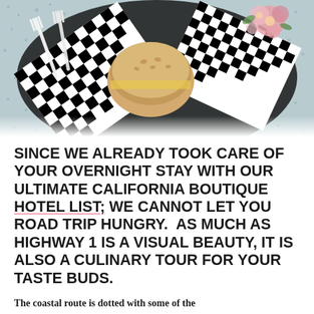[Figure (photo): Overhead shot of food on black and white checkered paper/wax paper on a dark plate, with white plastic forks visible, and what appears to be a bun or bread item in the center, with floral decoration in the upper right corner, on a blue-grey speckled background.]
SINCE WE ALREADY TOOK CARE OF YOUR OVERNIGHT STAY WITH OUR ULTIMATE CALIFORNIA BOUTIQUE HOTEL LIST; WE CANNOT LET YOU ROAD TRIP HUNGRY.  AS MUCH AS HIGHWAY 1 IS A VISUAL BEAUTY, IT IS ALSO A CULINARY TOUR FOR YOUR TASTE BUDS.
The coastal route is dotted with some of the